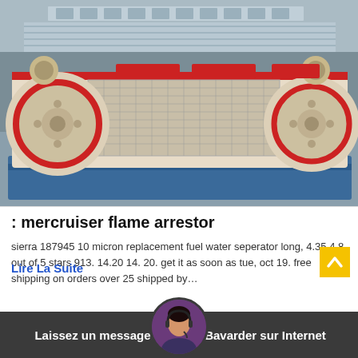[Figure (photo): Industrial jaw crusher / stone crushing machine equipment photographed outdoors at a factory yard. The machine is large, painted cream/beige with red accent rings and blue base frame. Multiple crusher units are visible side by side. Background shows a grey industrial building.]
: mercruiser flame arrestor
sierra 187945 10 micron replacement fuel water seperator long, 4.35 4.8 out of 5 stars 913. 14.20 14. 20. get it as soon as tue, oct 19. free shipping on orders over 25 shipped by…
Lire La Suite
Laissez un message
Bavarder sur Internet